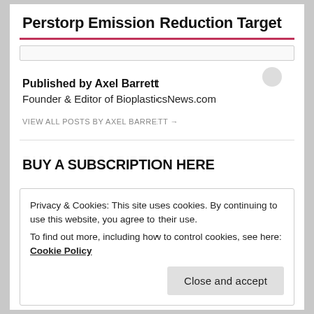Perstorp Emission Reduction Target
Published by Axel Barrett
Founder & Editor of BioplasticsNews.com
VIEW ALL POSTS BY AXEL BARRETT →
BUY A SUBSCRIPTION HERE
Privacy & Cookies: This site uses cookies. By continuing to use this website, you agree to their use.
To find out more, including how to control cookies, see here: Cookie Policy
Close and accept